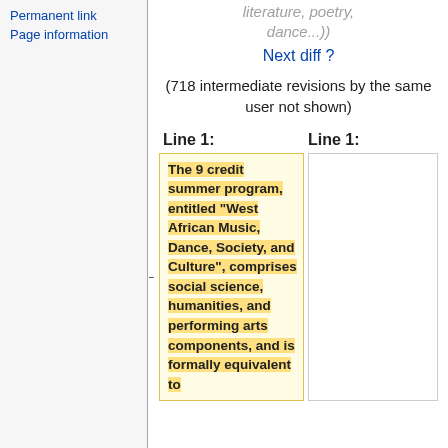Permanent link
Page information
literature, poetry, dance...))
Next diff ?
(718 intermediate revisions by the same user not shown)
Line 1:
Line 1:
The 9 credit summer program, entitled "West African Music, Dance, Society, and Culture", comprises social science, humanities, and performing arts components, and is formally equivalent to